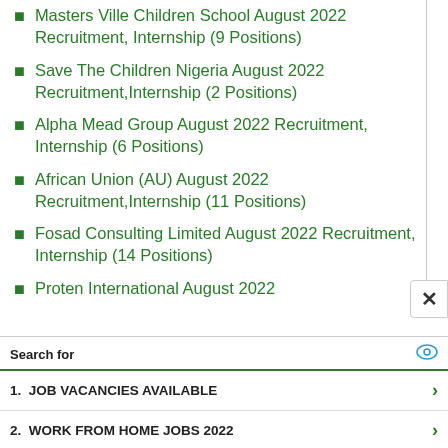Masters Ville Children School August 2022 Recruitment, Internship (9 Positions)
Save The Children Nigeria August 2022 Recruitment,Internship (2 Positions)
Alpha Mead Group August 2022 Recruitment, Internship (6 Positions)
African Union (AU) August 2022 Recruitment,Internship (11 Positions)
Fosad Consulting Limited August 2022 Recruitment, Internship (14 Positions)
Proten International August 2022
Search for
1.  JOB VACANCIES AVAILABLE
2.  WORK FROM HOME JOBS 2022
Yahoo! Search | Sponsored